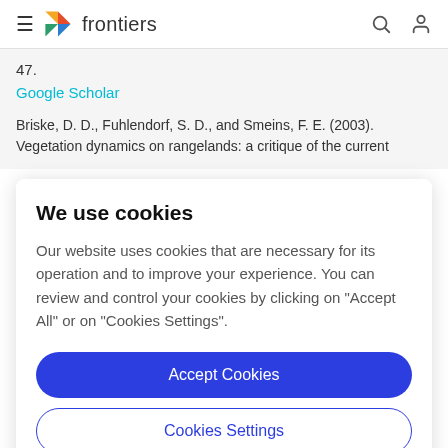frontiers
47.
Google Scholar
Briske, D. D., Fuhlendorf, S. D., and Smeins, F. E. (2003). Vegetation dynamics on rangelands: a critique of the current
We use cookies
Our website uses cookies that are necessary for its operation and to improve your experience. You can review and control your cookies by clicking on "Accept All" or on "Cookies Settings".
Accept Cookies
Cookies Settings